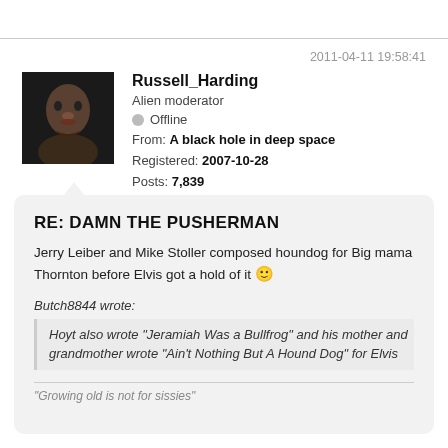2011-04-11 19:58:41
[Figure (photo): Avatar photo of Russell_Harding, a dark image of a man's face]
Russell_Harding
Alien moderator
Offline
From: A black hole in deep space
Registered: 2007-10-28
Posts: 7,839
RE: DAMN THE PUSHERMAN
Jerry Leiber and Mike Stoller composed houndog for Big mama Thornton before Elvis got a hold of it 🙂
Butch8844 wrote:
Hoyt also wrote "Jeramiah Was a Bullfrog" and his mother and grandmother wrote "Ain't Nothing But A Hound Dog" for Elvis
"Growing old is not for sissies"